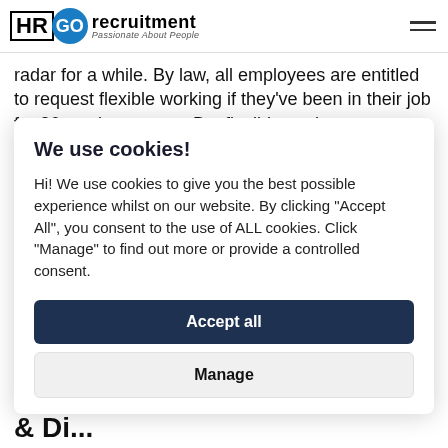HR GO recruitment — Passionate About People
radar for a while. By law, all employees are entitled to request flexible working if they've been in their job for 26 weeks or more. But flexible work arrangements have shot up the list of attractive workplace benefits in the last 12 months.
We use cookies!
Hi! We use cookies to give you the best possible experience whilst on our website. By clicking "Accept All", you consent to the use of ALL cookies. Click "Manage" to find out more or provide a controlled consent.
Accept all
Manage